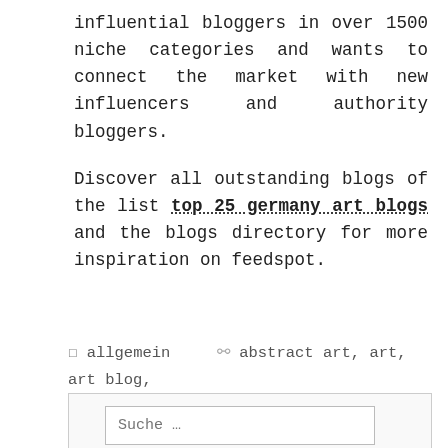influential bloggers in over 1500 niche categories and wants to connect the market with new influencers and authority bloggers.
Discover all outstanding blogs of the list top 25 germany art blogs and the blogs directory for more inspiration on feedspot.
allgemein   abstract art, art, art blog, artnews, astridstoeppel.com, blog, blogger, feedspot, german artist, germany, kunst, top 25